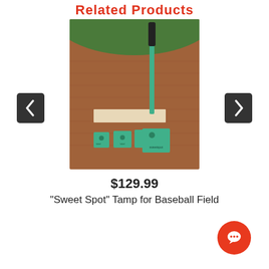Related Products
[Figure (photo): Photo of a baseball field tamper product called 'Sweet Spot' Tamp - shows a teal/green colored tamping tool with a long handle standing upright on a dirt baseball field surface, with several sizes of teal square base plates arranged in front of a white batter's box line]
$129.99
"Sweet Spot" Tamp for Baseball Field